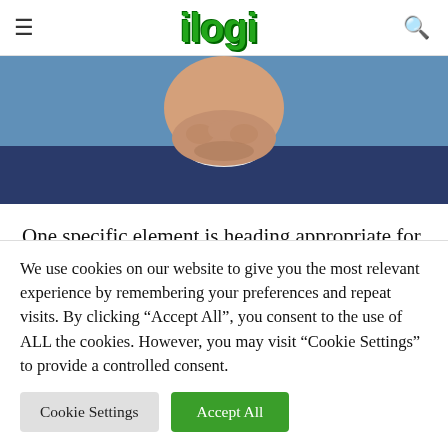ilogi
[Figure (photo): Close-up photo of a person (President Biden) with hands clasped near face, wearing a blue suit, against a blue background.]
One specific element is heading appropriate for President Biden. The place business stays heat, with organizations using nearly anybody they will find. Employers added 678,000 positions in February, a lot excess of economists...
We use cookies on our website to give you the most relevant experience by remembering your preferences and repeat visits. By clicking "Accept All", you consent to the use of ALL the cookies. However, you may visit "Cookie Settings" to provide a controlled consent.